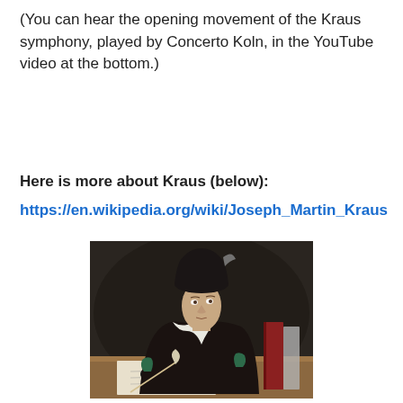(You can hear the opening movement of the Kraus symphony, played by Concerto Koln, in the YouTube video at the bottom.)
Here is more about Kraus (below):
https://en.wikipedia.org/wiki/Joseph_Martin_Kraus
[Figure (photo): Portrait painting of Joseph Martin Kraus, a young man wearing a dark coat with green cuffs and a black hat with feather, seated at a desk with quill pen, papers, and books. Classical oil painting style.]